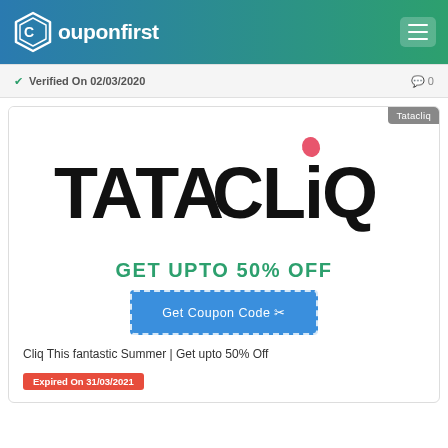Couponfirst
✔ Verified On 02/03/2020   💬 0
[Figure (logo): TataCLiQ brand logo — large bold black text with pink dot accent]
GET UPTO 50% OFF
Get Coupon Code ✂
Cliq This fantastic Summer | Get upto 50% Off
Expired On 31/03/2021